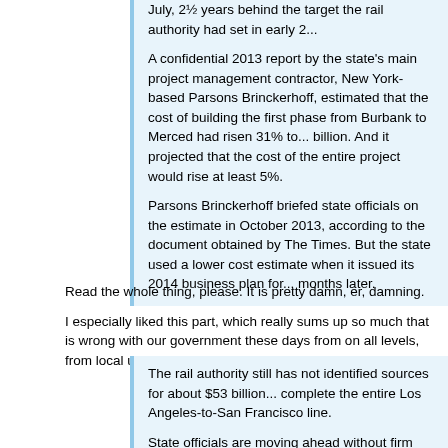July, 21/2 years behind the target the rail authority had set in early 2...
A confidential 2013 report by the state's main project management contractor, New York-based Parsons Brinckerhoff, estimated that the cost of building the first phase from Burbank to Merced had risen 31% to... billion. And it projected that the cost of the entire project would rise at least 5%.
Parsons Brinckerhoff briefed state officials on the estimate in October 2013, according to the document obtained by The Times. But the state used a lower cost estimate when it issued its 2014 business plan for... months later.
Read the whole thing, please. It is pretty damn, er, damning.
I especially liked this part, which really sums up so much that is wrong with our government these days from on all levels, from local up to federal:
The rail authority still has not identified sources for about $53 billion... complete the entire Los Angeles-to-San Francisco line.
State officials are moving ahead without firm financial commitments, contending that private investors will eventually help finance the system... This month, three dozen companies solicited by the state said they... not ready to invest.